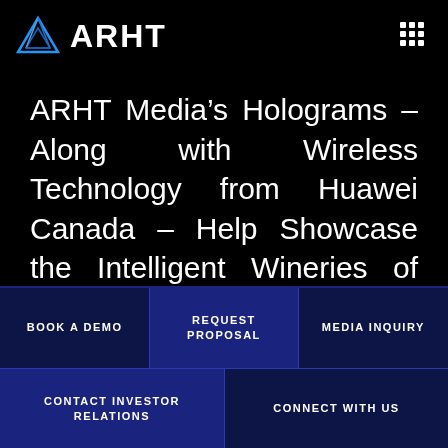[Figure (logo): ARHT logo with blue triangle/arrow icon and white ARHT text, plus a 3x3 grid menu icon on the right]
ARHT Media’s Holograms – Along with Wireless Technology from Huawei Canada – Help Showcase the Intelligent Wineries of Tomorrow
BOOK A DEMO
REQUEST PROPOSAL
MEDIA INQUIRY
CONTACT INVESTOR RELATIONS
CONNECT WITH US